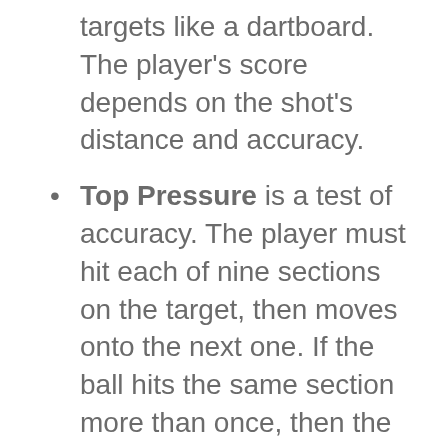targets like a dartboard. The player's score depends on the shot's distance and accuracy.
Top Pressure is a test of accuracy. The player must hit each of nine sections on the target, then moves onto the next one. If the ball hits the same section more than once, then the player loses points.